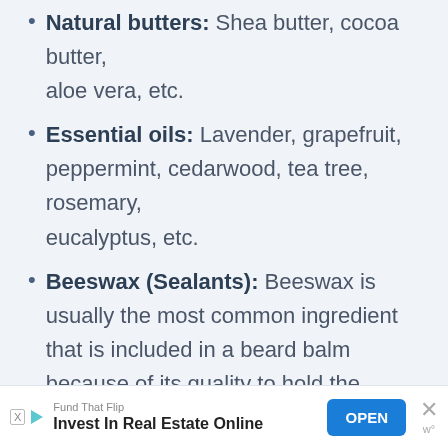Natural butters: Shea butter, cocoa butter, aloe vera, etc.
Essential oils: Lavender, grapefruit, peppermint, cedarwood, tea tree, rosemary, eucalyptus, etc.
Beeswax (Sealants): Beeswax is usually the most common ingredient that is included in a beard balm because of its quality to hold the beard hair while retaining its hydration for a longer time.
[Figure (other): Advertisement banner: Fund That Flip — Invest In Real Estate Online. Blue OPEN button. Close (X) and Wordpres (W°) icons.]